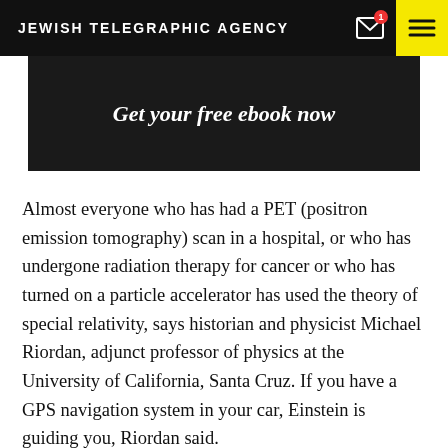JEWISH TELEGRAPHIC AGENCY
[Figure (other): Advertisement banner with dark background and text 'Get your free ebook now']
Almost everyone who has had a PET (positron emission tomography) scan in a hospital, or who has undergone radiation therapy for cancer or who has turned on a particle accelerator has used the theory of special relativity, says historian and physicist Michael Riordan, adjunct professor of physics at the University of California, Santa Cruz. If you have a GPS navigation system in your car, Einstein is guiding you, Riordan said.